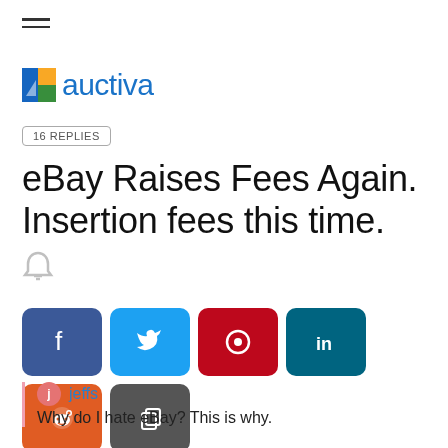≡ (hamburger menu)
[Figure (logo): Auctiva logo with colorful icon and blue text]
16 REPLIES
eBay Raises Fees Again. Insertion fees this time.
[Figure (infographic): Social share buttons: Facebook, Twitter, Pinterest, LinkedIn, Reddit, Copy]
jeffs
Why do I hate eBay? This is why.